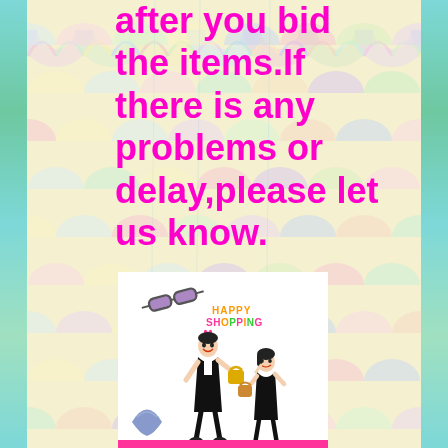after you bid the items.If there is any problems or delay,please let us know.
[Figure (illustration): Happy shopping illustration showing two cartoon girls in black dresses with accessories, sunglasses, and a skirt, with 'HAPPY SHOPPING' text in colorful letters]